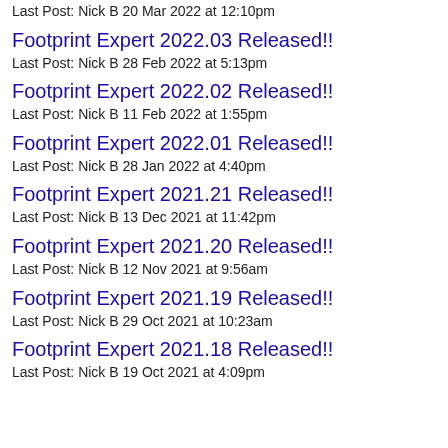Last Post: Nick B 20 Mar 2022 at 12:10pm
Footprint Expert 2022.03 Released!!
Last Post: Nick B 28 Feb 2022 at 5:13pm
Footprint Expert 2022.02 Released!!
Last Post: Nick B 11 Feb 2022 at 1:55pm
Footprint Expert 2022.01 Released!!
Last Post: Nick B 28 Jan 2022 at 4:40pm
Footprint Expert 2021.21 Released!!
Last Post: Nick B 13 Dec 2021 at 11:42pm
Footprint Expert 2021.20 Released!!
Last Post: Nick B 12 Nov 2021 at 9:56am
Footprint Expert 2021.19 Released!!
Last Post: Nick B 29 Oct 2021 at 10:23am
Footprint Expert 2021.18 Released!!
Last Post: Nick B 19 Oct 2021 at 4:09pm